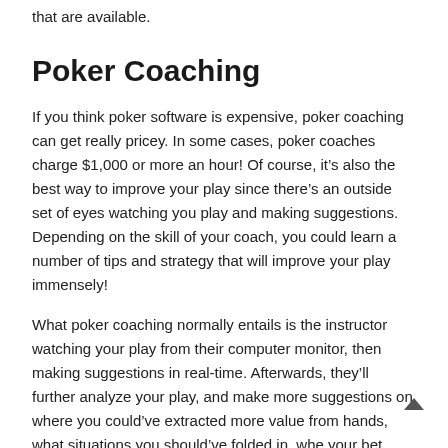that are available.
Poker Coaching
If you think poker software is expensive, poker coaching can get really pricey. In some cases, poker coaches charge $1,000 or more an hour! Of course, it’s also the best way to improve your play since there’s an outside set of eyes watching you play and making suggestions. Depending on the skill of your coach, you could learn a number of tips and strategy that will improve your play immensely!
What poker coaching normally entails is the instructor watching your play from their computer monitor, then making suggestions in real-time. Afterwards, they’ll further analyze your play, and make more suggestions on where you could’ve extracted more value from hands, what situations you should’ve folded in, whe your bet sizing could improve, etc. If you have several